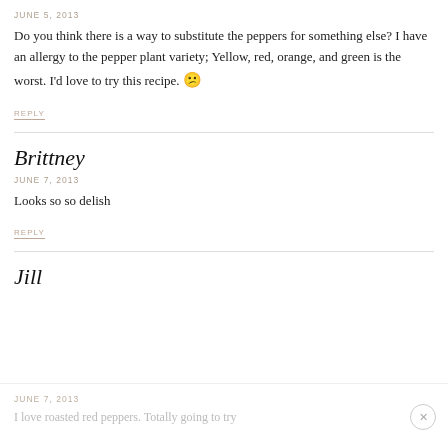JUNE 5, 2013
Do you think there is a way to substitute the peppers for something else? I have an allergy to the pepper plant variety; Yellow, red, orange, and green is the worst. I'd love to try this recipe. 😕
REPLY
Brittney
JUNE 7, 2013
Looks so so delish
REPLY
Jill
JUNE 7, 2013
I love roasted red peppers. Totally going to try